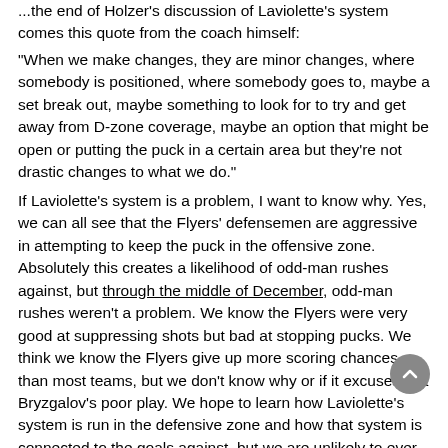...from the coach himself:
"When we make changes, they are minor changes, where somebody is positioned, where somebody goes to, maybe a set break out, maybe something to look for to try and get away from D-zone coverage, maybe an option that might be open or putting the puck in a certain area but they're not drastic changes to what we do."
If Laviolette's system is a problem, I want to know why. Yes, we can all see that the Flyers' defensemen are aggressive in attempting to keep the puck in the offensive zone. Absolutely this creates a likelihood of odd-man rushes against, but through the middle of December, odd-man rushes weren't a problem. We know the Flyers were very good at suppressing shots but bad at stopping pucks. We think we know the Flyers give up more scoring chances than most teams, but we don't know why or if it excuses Ilya Bryzgalov's poor play. We hope to learn how Laviolette's system is run in the defensive zone and how that system is connected to the goals against, but we are unlikely to ever know for sure whether the goals were the result of a systemic flaw or human error.
Further, unless there was a different system last year, the evidence would point to a personnel problem and not a systemic